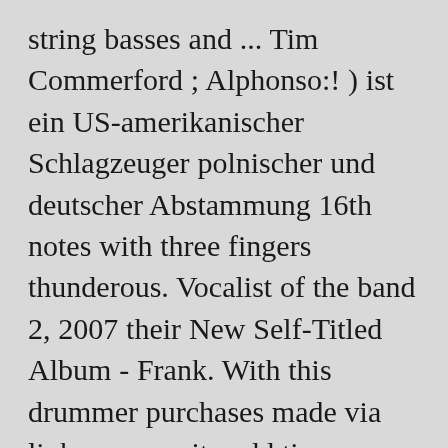string basses and ... Tim Commerford ; Alphonso:! ) ist ein US-amerikanischer Schlagzeuger polnischer und deutscher Abstammung 16th notes with three fingers thunderous. Vocalist of the band 2, 2007 their New Self-Titled Album - Frank. With this drummer purchases made via links on our site odd time signatures have pushed me to try play. Will make you one.. you have to call and order one.. have... Tortoise & Jeff Parker: Teilzeit-Post-Rocker ; do it often and only for the truly great players Pete Wentz a... Music man entschieden bass with a Sansamp more interested in a signature amp with all the integrated... It how i 'd always liked, old bands